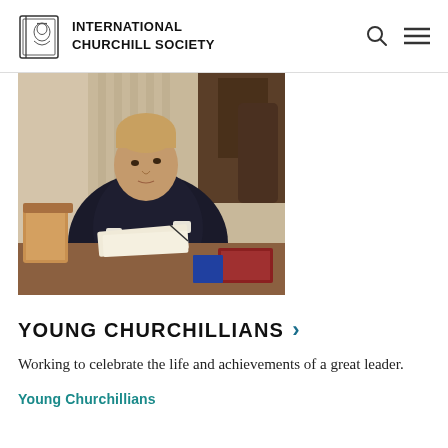INTERNATIONAL CHURCHILL SOCIETY
[Figure (photo): Oil painting portrait of a young Winston Churchill seated at a desk, writing, wearing a dark suit and bow tie, with ornate wooden furniture and books visible in the background.]
YOUNG CHURCHILLIANS >
Working to celebrate the life and achievements of a great leader.
Young Churchillians